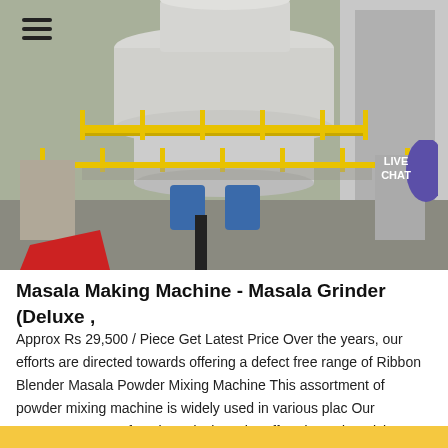[Figure (photo): Industrial masala making machine / grinder equipment photographed in a factory/industrial setting. Large white cylindrical grinding tower with yellow safety railings and blue components at the base. Three horizontal menu lines (hamburger icon) visible top-left. A 'LIVE CHAT' purple bubble visible top-right.]
Masala Making Machine - Masala Grinder (Deluxe ,
Approx Rs 29,500 / Piece Get Latest Price Over the years, our efforts are directed towards offering a defect free range of Ribbon Blender Masala Powder Mixing Machine This assortment of powder mixing machine is widely used in various plac Our competent team of workers designs the offered powder mixing machine by making use of updated ,